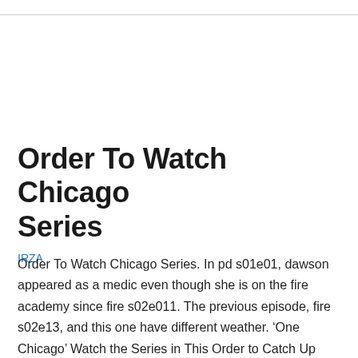Order To Watch Chicago Series
IRZA
Order To Watch Chicago Series. In pd s01e01, dawson appeared as a medic even though she is on the fire academy since fire s02e011. The previous episode, fire s02e13, and this one have different weather. ‘One Chicago’ Watch the Series in This Order to Catch Up Quickly from outsider.com There are various individual